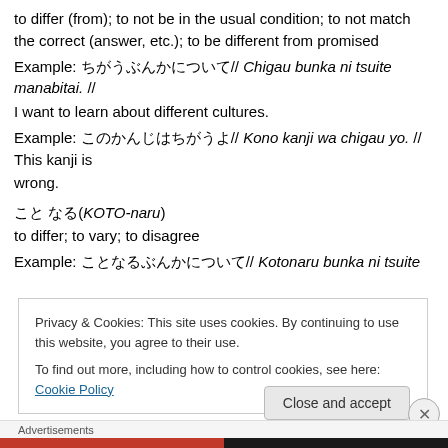to differ (from); to not be in the usual condition; to not match the correct (answer, etc.); to be different from promised
Example: ちがうぶんかについて// Chigau bunka ni tsuite manabitai. // I want to learn about different cultures.
Example: このかんじはちがうよ// Kono kanji wa chigau yo. // This kanji is wrong.
こと なる(KOTO-naru)
to differ; to vary; to disagree
Example: ことなるぶんかについて// Kotonaru bunka ni tsuite
Privacy & Cookies: This site uses cookies. By continuing to use this website, you agree to their use.
To find out more, including how to control cookies, see here: Cookie Policy
Close and accept
Advertisements